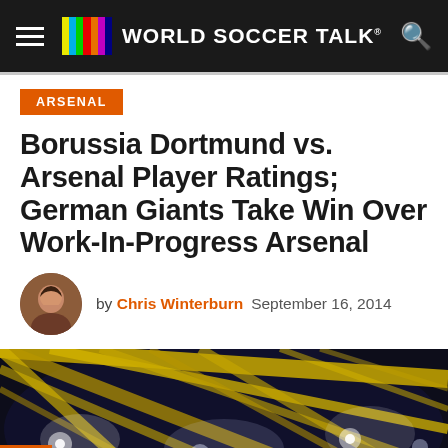WORLD SOCCER TALK
ARSENAL
Borussia Dortmund vs. Arsenal Player Ratings; German Giants Take Win Over Work-In-Progress Arsenal
by Chris Winterburn  September 16, 2014
[Figure (photo): Interior view of a large soccer stadium at night with yellow structural beams and bright floodlights, likely Signal Iduna Park (Borussia Dortmund's home ground)]